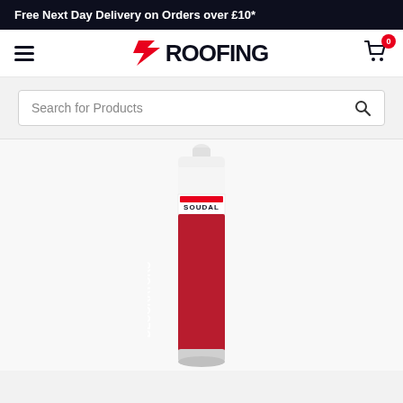Free Next Day Delivery on Orders over £10*
[Figure (logo): EZRoofing logo with red lightning bolt and dark navy text ROOFING, hamburger menu icon on left, shopping cart icon with badge '0' on right]
Search for Products
[Figure (photo): Soudal Decorators Caulk product tube — white cartridge tube with red label showing SOUDAL brand and DECORATORS CAULK text in white, nozzle tip at top]